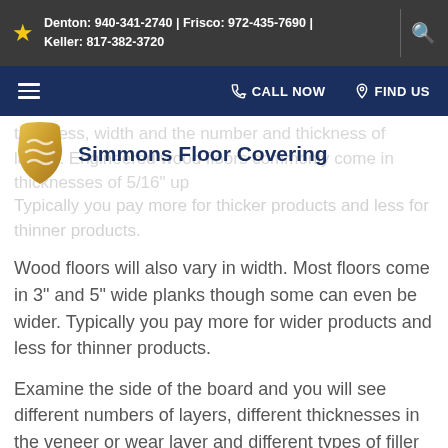Denton: 940-341-2740 | Frisco: 972-435-7690 | Keller: 817-382-3720
CALL NOW   FIND US
Simmons Floor Covering
thickness, width and the number and thickness of layers. Engineered wood floors commonly come in thicknesses of 5/16" up to... Typically you pay more for thicker products and less for thinner products.
Wood floors will also vary in width. Most floors come in 3" and 5" wide planks though some can even be wider. Typically you pay more for wider products and less for thinner products.
Examine the side of the board and you will see different numbers of layers, different thicknesses in the veneer or wear layer and different types of filler layers being used.